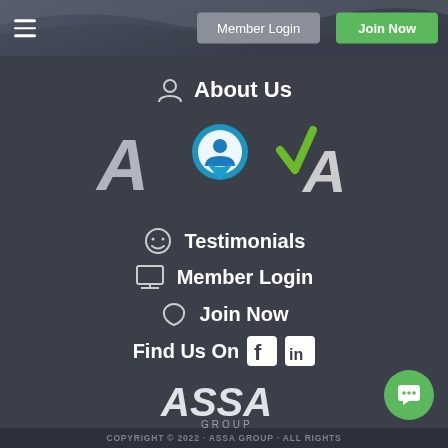Member Login | Join Now
About Us
[Figure (logo): Three logos: ASSA italic A logo, circular location-pin with person icon, VA with green checkmark]
Testimonials
Member Login
Join Now
Find Us On [Facebook] [LinkedIn]
[Figure (logo): ASSA GROUP logo in white text]
COPYRIGHT © 2022 ASSA GROUP ALL RIGHTS...